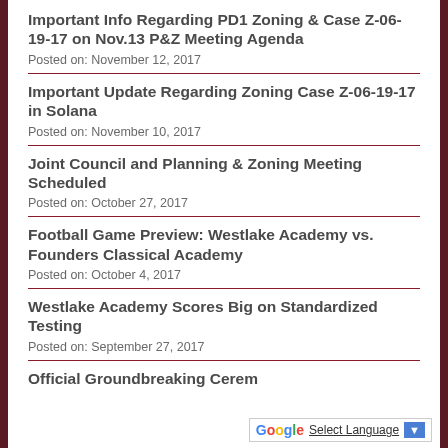Important Info Regarding PD1 Zoning & Case Z-06-19-17 on Nov.13 P&Z Meeting Agenda
Posted on: November 12, 2017
Important Update Regarding Zoning Case Z-06-19-17 in Solana
Posted on: November 10, 2017
Joint Council and Planning & Zoning Meeting Scheduled
Posted on: October 27, 2017
Football Game Preview: Westlake Academy vs. Founders Classical Academy
Posted on: October 4, 2017
Westlake Academy Scores Big on Standardized Testing
Posted on: September 27, 2017
Official Groundbreaking Cerem...